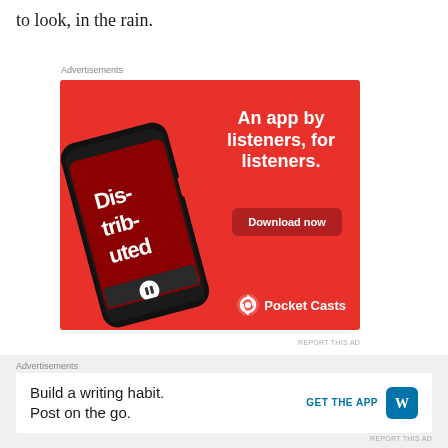to look, in the rain.
Advertisements
[Figure (illustration): Pocket Casts advertisement. Red background with a smartphone showing a podcast app playing 'Distributed'. Text reads 'An app by listeners, for listeners.' with a 'Download now' button and Pocket Casts logo.]
REPORT THIS AD
Advertisements
[Figure (illustration): WordPress.com advertisement on grey background. Text reads 'Build a writing habit. Post on the go.' with 'GET THE APP' call to action and WordPress logo icon.]
REPORT THIS AD